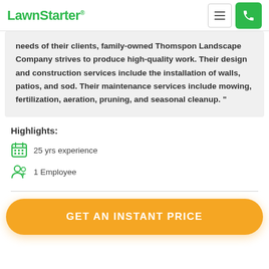LawnStarter
needs of their clients, family-owned Thomspon Landscape Company strives to produce high-quality work. Their design and construction services include the installation of walls, patios, and sod. Their maintenance services include mowing, fertilization, aeration, pruning, and seasonal cleanup. "
Highlights:
25 yrs experience
1 Employee
GET AN INSTANT PRICE